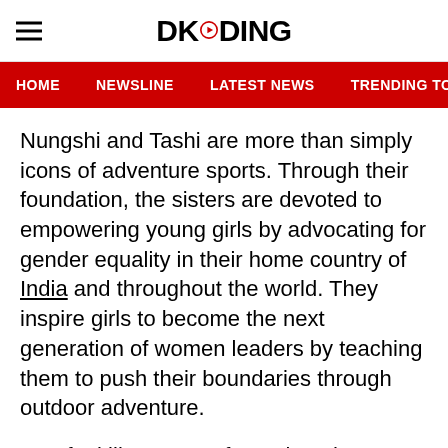DKODING
HOME  NEWSLINE  LATEST NEWS  TRENDING TODAY  ENT
Nungshi and Tashi are more than simply icons of adventure sports. Through their foundation, the sisters are devoted to empowering young girls by advocating for gender equality in their home country of India and throughout the world. They inspire girls to become the next generation of women leaders by teaching them to push their boundaries through outdoor adventure.
“We feel like women for so long have been absent from the outdoor world,” Nungshi says. “So we’ll keep striving to encourage